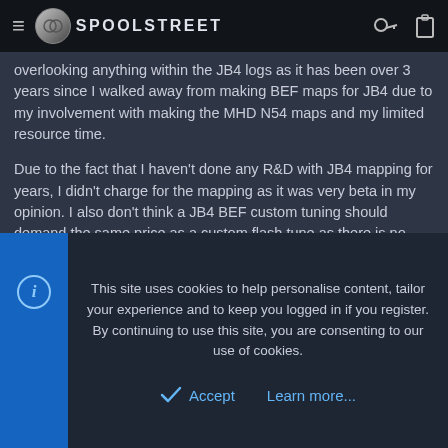SPOOLSTREET
overlooking anything within the JB4 logs as it has been over 3 years since I walked away from making BEF maps for JB4 due to my involvement with making the MHD N54 maps and my limited resource time.
Due to the fact that I haven't done any R&D with JB4 mapping for years, I didn't charge for the mapping as it was very beta in my opinion. I also don't think a JB4 BEF custom tuning should demand the same price as a custom flash tune as there is no boost management which normally takes the most time on a custom flash map.
I'm not sure how quick I will have maps available or how I will
This site uses cookies to help personalise content, tailor your experience and to keep you logged in if you register.
By continuing to use this site, you are consenting to our use of cookies.
Accept
Learn more...